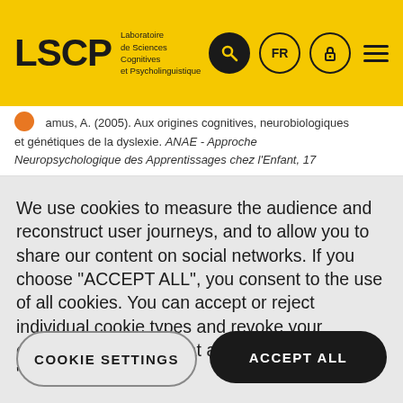LSCP Laboratoire de Sciences Cognitives et Psycholinguistique
Ramus, A. (2005). Aux origines cognitives, neurobiologiques et génétiques de la dyslexie. ANAE - Approche Neuropsychologique des Apprentissages chez l'Enfant, 17
We use cookies to measure the audience and reconstruct user journeys, and to allow you to share our content on social networks. If you choose "ACCEPT ALL", you consent to the use of all cookies. You can accept or reject individual cookie types and revoke your consent for the future at any time under "Settings".
Privacy policy
Cookie Policy
COOKIE SETTINGS
ACCEPT ALL